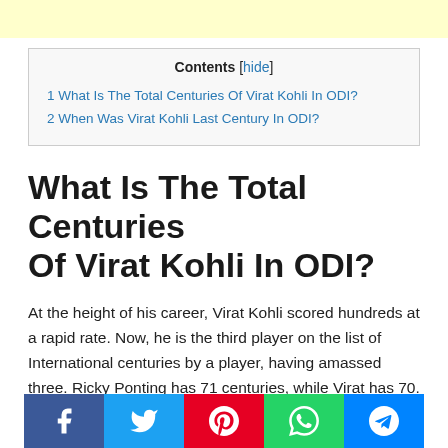| Contents [hide] |
| --- |
| 1 What Is The Total Centuries Of Virat Kohli In ODI? |
| 2 When Was Virat Kohli Last Century In ODI? |
What Is The Total Centuries Of Virat Kohli In ODI?
At the height of his career, Virat Kohli scored hundreds at a rapid rate. Now, he is the third player on the list of International centuries by a player, having amassed three. Ricky Ponting has 71 centuries, while Virat has 70. The chart is topped by Sachin Tendulkar, who has 99 centuries.